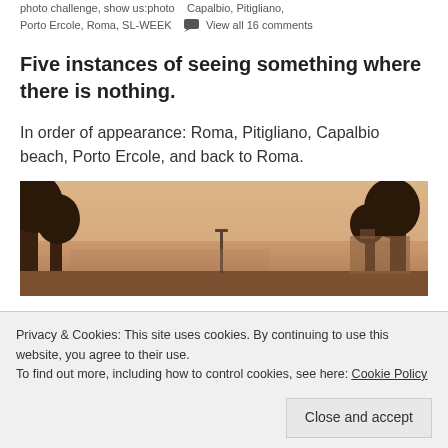photo challenge, show us:photo   Capalbio, Pitigliano, Porto Ercole, Roma, SL-WEEK    View all 16 comments
Five instances of seeing something where there is nothing.
In order of appearance: Roma, Pitigliano, Capalbio beach, Porto Ercole, and back to Roma.
[Figure (photo): Sepia-toned panoramic photograph of a town square or open area with bare trees on both sides, a street lamp in the center, and a hazy warm sky background.]
Privacy & Cookies: This site uses cookies. By continuing to use this website, you agree to their use.
To find out more, including how to control cookies, see here: Cookie Policy
Close and accept